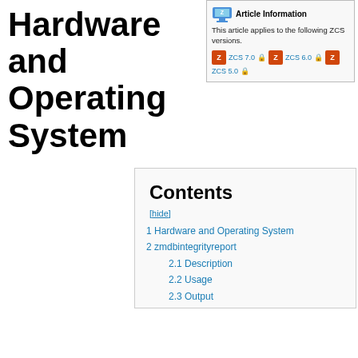Hardware and Operating System
[Figure (infographic): Article Information box with Zimbra logo icon and ZCS version badges for ZCS 7.0, ZCS 6.0, and ZCS 5.0 with lock icons]